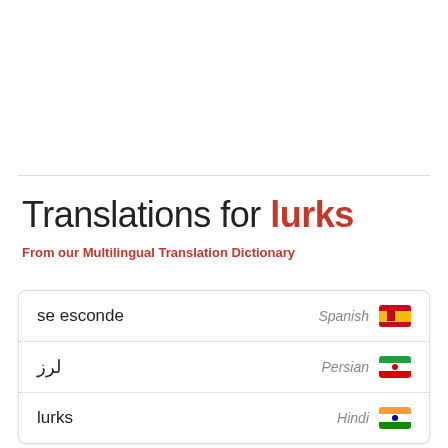Translations for lurks
From our Multilingual Translation Dictionary
| Translation | Language | Flag |
| --- | --- | --- |
| se esconde | Spanish | 🇪🇸 |
| لرز | Persian | 🇮🇷 |
| lurks | Hindi | 🇮🇳 |